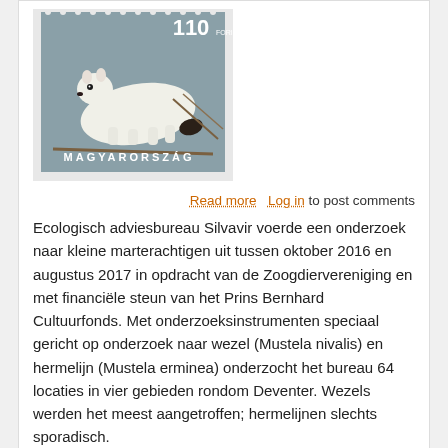[Figure (photo): Hungarian postage stamp showing a white stoat/ermine (Mustela erminea) against a grey-brown background, denominated 110 Forint, with 'MAGYARORSZÁG' text at the bottom and a perforated stamp border.]
Read more   Log in to post comments
Ecologisch adviesbureau Silvavir voerde een onderzoek naar kleine marterachtigen uit tussen oktober 2016 en augustus 2017 in opdracht van de Zoogdiervereniging en met financiële steun van het Prins Bernhard Cultuurfonds. Met onderzoeksinstrumenten speciaal gericht op onderzoek naar wezel (Mustela nivalis) en hermelijn (Mustela erminea) onderzocht het bureau 64 locaties in vier gebieden rondom Deventer. Wezels werden het meest aangetroffen; hermelijnen slechts sporadisch.